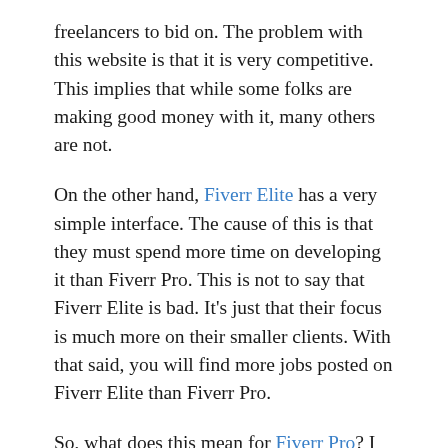freelancers to bid on. The problem with this website is that it is very competitive. This implies that while some folks are making good money with it, many others are not.
On the other hand, Fiverr Elite has a very simple interface. The cause of this is that they must spend more time on developing it than Fiverr Pro. This is not to say that Fiverr Elite is bad. It's just that their focus is much more on their smaller clients. With that said, you will find more jobs posted on Fiverr Elite than Fiverr Pro.
So, what does this mean for Fiverr Pro? I personally prefer Fiverr Pro, as it's so easy to use and it provides more variety for its own customers. However, if you are looking for a job, then you need to attempt Fiverr Elite first before